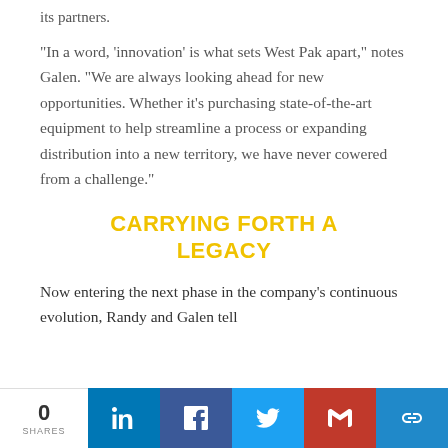its partners.
“In a word, ‘innovation’ is what sets West Pak apart,” notes Galen. “We are always looking ahead for new opportunities. Whether it’s purchasing state-of-the-art equipment to help streamline a process or expanding distribution into a new territory, we have never cowered from a challenge.”
CARRYING FORTH A LEGACY
Now entering the next phase in the company’s continuous evolution, Randy and Galen tell
0 SHARES